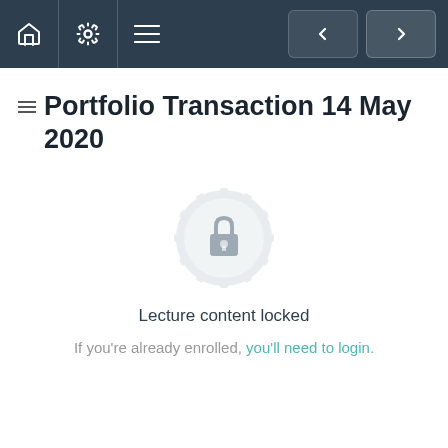Navigation bar with home, settings, menu icons and back/forward buttons
Portfolio Transaction 14 May 2020
[Figure (illustration): Lock icon inside a decorative circular badge, indicating locked content]
Lecture content locked
If you're already enrolled, you'll need to login.